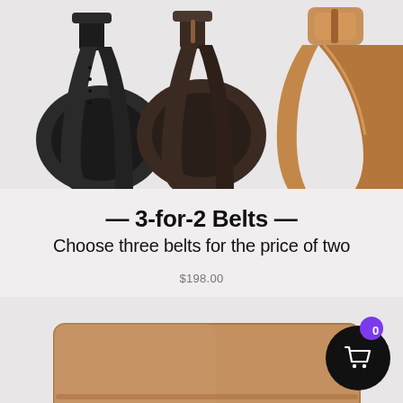[Figure (photo): Three rolled leather belts — black, dark brown, and tan — displayed side by side against a light gray background, cropped at the top]
— 3-for-2 Belts —
Choose three belts for the price of two
$198.00
[Figure (photo): Bottom portion of a tan/caramel leather wallet or cardholder shown at the bottom of the page]
[Figure (other): Black circular shopping cart button with purple badge showing '0' count, positioned in bottom-right corner]